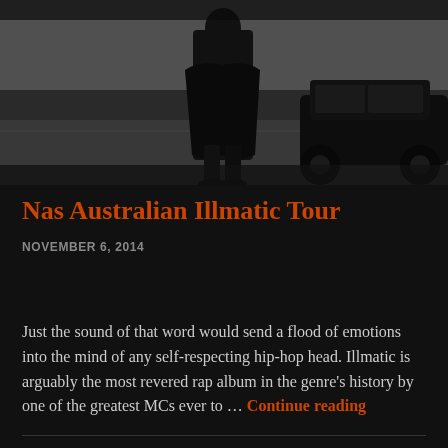[Figure (photo): Black and white street photo showing a person in a dark coat from behind, standing on a street with a dark car visible on the right side.]
Nas Australian Illmatic Tour
NOVEMBER 6, 2014
Just the sound of that word would send a flood of emotions into the mind of any self-respecting hip-hop head. Illmatic is arguably the most revered rap album in the genre's history by one of the greatest MCs ever to … Continue reading